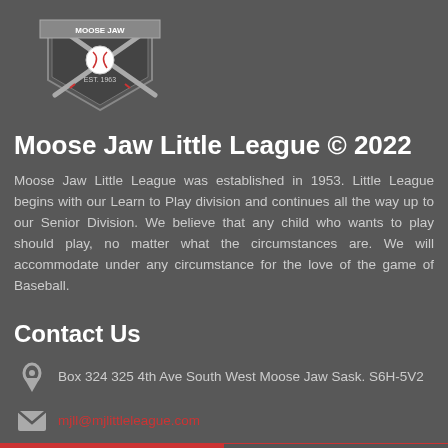[Figure (logo): Moose Jaw Little League logo with crossed baseball bats and shield, EST. 1963]
Moose Jaw Little League © 2022
Moose Jaw Little League was established in 1953. Little League begins with our Learn to Play division and continues all the way up to our Senior Division. We believe that any child who wants to play should play, no matter what the circumstances are. We will accommodate under any circumstance for the love of the game of Baseball.
Contact Us
Box 324 325 4th Ave South West Moose Jaw Sask. S6H-5V2
mjll@mjlittleleague.com